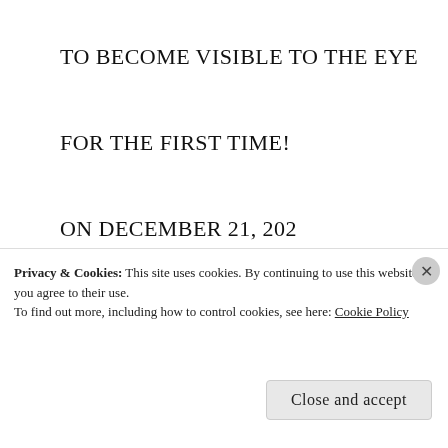TO BECOME VISIBLE TO THE EYE
FOR THE FIRST TIME!
ON DECEMBER 21, 202
0 A NEW HIGHER VIBRATIONAL SUNLIGHT COMING FROM THE CENTRAL SUN
Advertisements
[Figure (screenshot): Tumblr Ad-Free promotion banner showing $39.99 a year price with star icon and blue gradient background]
Privacy & Cookies: This site uses cookies. By continuing to use this website, you agree to their use.
To find out more, including how to control cookies, see here: Cookie Policy
Close and accept